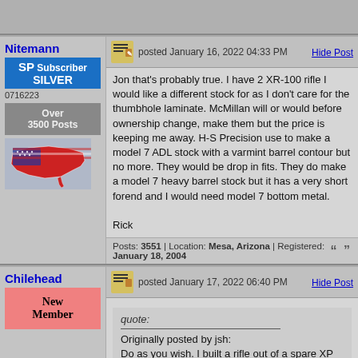Nitemann
SP Subscriber SILVER
0716223
Over 3500 Posts
[Figure (illustration): US flag map illustration]
posted January 16, 2022 04:33 PM
Hide Post
Jon that's probably true. I have 2 XR-100 rifle I would like a different stock for as I don't care for the thumbhole laminate. McMillan will or would before ownership change, make them but the price is keeping me away. H-S Precision use to make a model 7 ADL stock with a varmint barrel contour but no more. They would be drop in fits. They do make a model 7 heavy barrel stock but it has a very short forend and I would need model 7 bottom metal.

Rick
Posts: 3551 | Location: Mesa, Arizona | Registered: January 18, 2004
Chilehead
New Member
posted January 17, 2022 06:40 PM
Hide Post
quote:
Originally posted by jsh:
Do as you wish. I built a rifle out of a spare XP action a while back. It's not like it can't be swapped back by